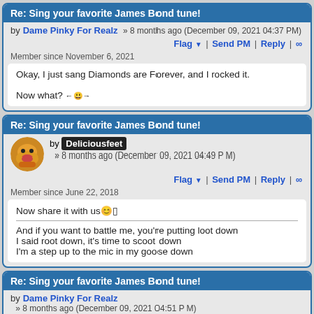Re: Sing your favorite James Bond tune!
by Dame Pinky For Realz » 8 months ago (December 09, 2021 04:37 PM)
Flag ▼ | Send PM | Reply | ∞
Member since November 6, 2021
Okay, I just sang Diamonds are Forever, and I rocked it.

Now what? 🎤😊🎤
Re: Sing your favorite James Bond tune!
by Deliciousfeet » 8 months ago (December 09, 2021 04:49 PM)
Flag ▼ | Send PM | Reply | ∞
Member since June 22, 2018
Now share it with us 😊

And if you want to battle me, you're putting loot down
I said root down, it's time to scoot down
I'm a step up to the mic in my goose down
Re: Sing your favorite James Bond tune!
by Dame Pinky For Realz » 8 months ago (December 09, 2021 04:51 PM)
Flag ▼ | Send PM | Reply | ∞
Member since November 6, 2021